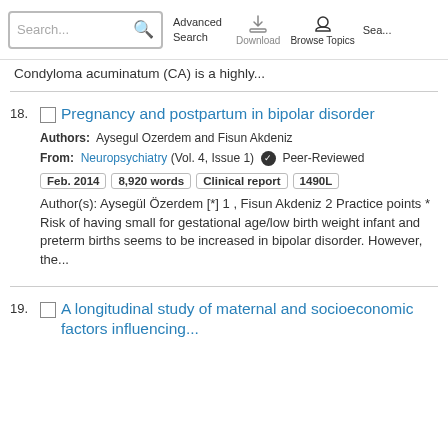Search... Advanced Search Download Browse Topics Sea...
Condyloma acuminatum (CA) is a highly...
18. Pregnancy and postpartum in bipolar disorder
Authors: Aysegul Ozerdem and Fisun Akdeniz
From: Neuropsychiatry (Vol. 4, Issue 1) Peer-Reviewed
Feb. 2014  8,920 words  Clinical report  1490L
Author(s): Aysegül Özerdem [*] 1 , Fisun Akdeniz 2 Practice points * Risk of having small for gestational age/low birth weight infant and preterm births seems to be increased in bipolar disorder. However, the...
19. A longitudinal study of maternal and socioeconomic factors influencing...